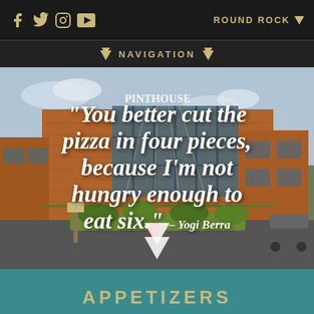Social icons (f, twitter, instagram, youtube) | ROUND ROCK ▽
⬇ NAVIGATION ⬇
[Figure (photo): Exterior photo of Pinthouse Pizza & Craft Brewery brick building with large windows and signage, parking lot in foreground with landscaping and a red fire hydrant, SUV parked on right]
“You better cut the pizza in four pieces, because I’m not hungry enough to eat six.” – Yogi Berra
APPETIZERS